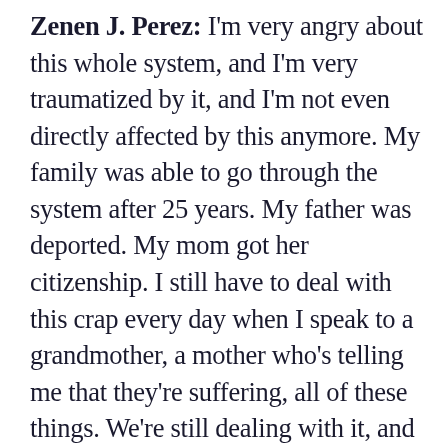Zenen J. Perez: I'm very angry about this whole system, and I'm very traumatized by it, and I'm not even directly affected by this anymore. My family was able to go through the system after 25 years. My father was deported. My mom got her citizenship. I still have to deal with this crap every day when I speak to a grandmother, a mother who's telling me that they're suffering, all of these things. We're still dealing with it, and we have to think of a new framework or else we're going to get stuck in this same crap over